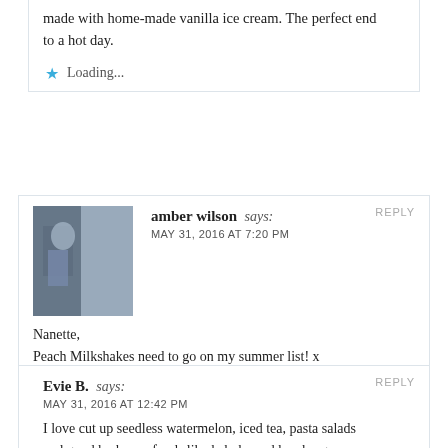made with home-made vanilla ice cream. The perfect end to a hot day.
★ Loading...
REPLY
amber wilson says:
MAY 31, 2016 AT 7:20 PM
Nanette,
Peach Milkshakes need to go on my summer list! x
Amber
★ Loading...
REPLY
Evie B. says:
MAY 31, 2016 AT 12:42 PM
I love cut up seedless watermelon, iced tea, pasta salads and good barbecue foods like kabobs and hamburgers.